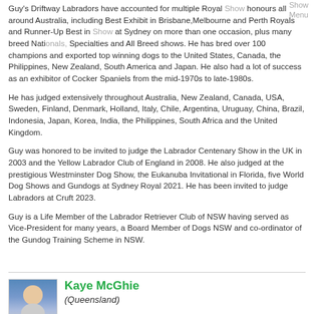Guy's Driftway Labradors have accounted for multiple Royal Show honours all around Australia, including Best Exhibit in Brisbane, Melbourne and Perth Royals and Runner-Up Best in Show at Sydney on more than one occasion, plus many breed Nationals, Specialties and All Breed shows. He has bred over 100 champions and exported top winning dogs to the United States, Canada, the Philippines, New Zealand, South America and Japan. He also had a lot of success as an exhibitor of Cocker Spaniels from the mid-1970s to late-1980s.
He has judged extensively throughout Australia, New Zealand, Canada, USA, Sweden, Finland, Denmark, Holland, Italy, Chile, Argentina, Uruguay, China, Brazil, Indonesia, Japan, Korea, India, the Philippines, South Africa and the United Kingdom.
Guy was honored to be invited to judge the Labrador Centenary Show in the UK in 2003 and the Yellow Labrador Club of England in 2008. He also judged at the prestigious Westminster Dog Show, the Eukanuba Invitational in Florida, five World Dog Shows and Gundogs at Sydney Royal 2021. He has been invited to judge Labradors at Cruft 2023.
Guy is a Life Member of the Labrador Retriever Club of NSW having served as Vice-President for many years, a Board Member of Dogs NSW and co-ordinator of the Gundog Training Scheme in NSW.
Kaye McGhie
(Queensland)